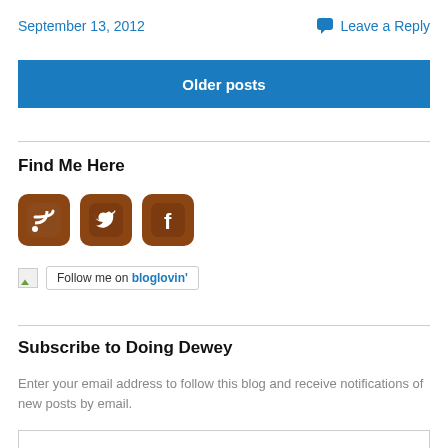September 13, 2012
Leave a Reply
Older posts
Find Me Here
[Figure (illustration): Three social media icons with wooden brown rounded-square background: RSS feed icon, bird/Tweetdeck icon, and Facebook 'f' icon]
[Figure (illustration): Follow me on bloglovin' badge button with broken image icon to the left]
Subscribe to Doing Dewey
Enter your email address to follow this blog and receive notifications of new posts by email.